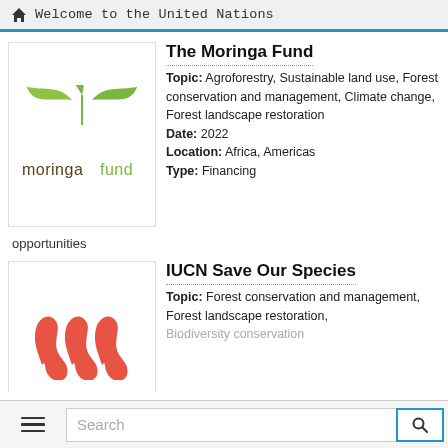Welcome to the United Nations
[Figure (logo): Moringa Fund logo with green leaves and text 'moringafund']
The Moringa Fund
Topic: Agroforestry, Sustainable land use, Forest conservation and management, Climate change, Forest landscape restoration
Date: 2022
Location: Africa, Americas
Type: Financing
opportunities
[Figure (logo): IUCN Save Our Species logo with red curved shapes]
IUCN Save Our Species
Topic: Forest conservation and management, Forest landscape restoration, Biodiversity conservation
Search